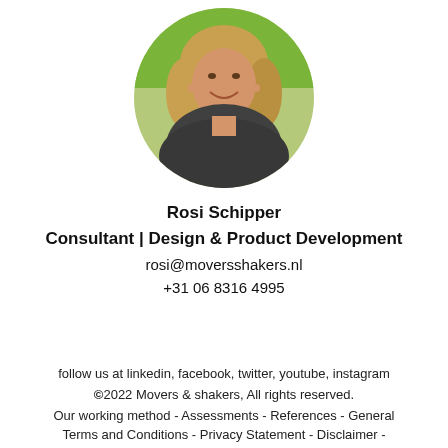[Figure (photo): Circular profile photo of a smiling woman with long blonde hair wearing a dark scarf, outdoors with a green/yellow background]
Rosi Schipper
Consultant | Design & Product Development
rosi@moversshakers.nl
+31 06 8316 4995
follow us at linkedin, facebook, twitter, youtube, instagram
©2022 Movers & shakers, All rights reserved.
Our working method - Assessments - References - General Terms and Conditions - Privacy Statement - Disclaimer -